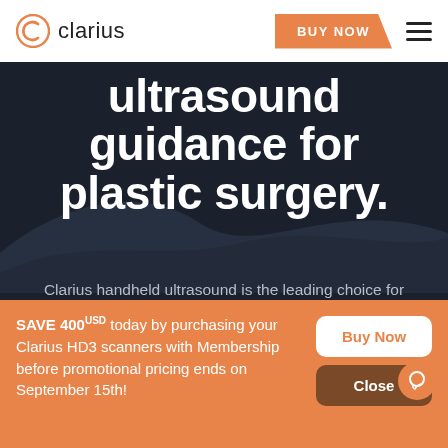Clarius | BUY NOW
ultrasound guidance for plastic surgery.
Clarius handheld ultrasound is the leading choice for plastic surgeons to clearly visualize facial and superficial anatomy and safely guide procedures to avoid complications.
We use cookies to ensure that we give you the best experience on our website. By using our website, you agre…
SAVE 400USD today by purchasing your Clarius HD3 scanners with Membership before promotional pricing ends on September 15th!